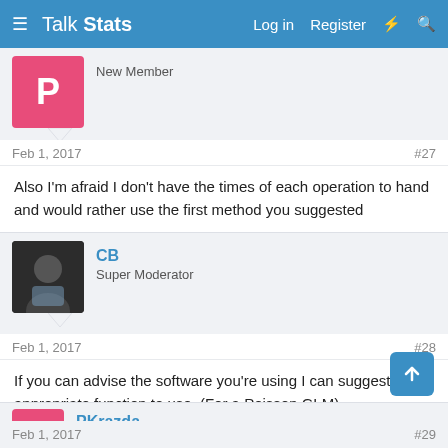Talk Stats — Log in  Register
New Member
Feb 1, 2017  #27
Also I'm afraid I don't have the times of each operation to hand and would rather use the first method you suggested
CB
Super Moderator
Feb 1, 2017  #28
If you can advise the software you're using I can suggest an appropriate function to use. (For a Poisson GLM).
PKrazda
New Member
Feb 1, 2017  #29